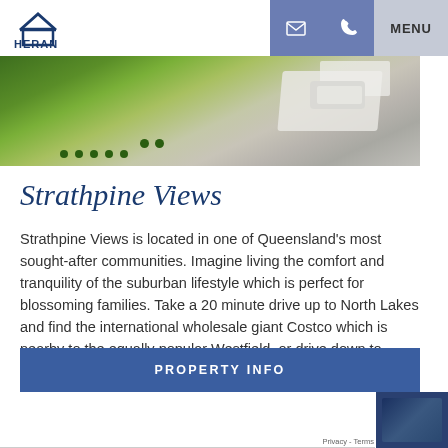HERAN BUILDING GROUP PTY. LTD. | MENU
[Figure (photo): Aerial/perspective rendering of a modern suburban home with white car in driveway, green lawn and garden beds, viewed from above]
Strathpine Views
Strathpine Views is located in one of Queensland’s most sought-after communities. Imagine living the comfort and tranquility of the suburban lifestyle which is perfect for blossoming families. Take a 20 minute drive up to North Lakes and find the international wholesale giant Costco which is nearby to the equally popular Westfield, or drive down to Brisbane CBD and enjoy […]
PROPERTY INFO